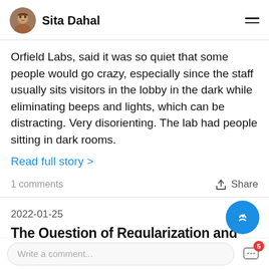Sita Dahal
Orfield Labs, said it was so quiet that some people would go crazy, especially since the staff usually sits visitors in the lobby in the dark while eliminating beeps and lights, which can be distracting. Very disorienting. The lab had people sitting in dark rooms.
Read full story >
1 comments	Share
2022-01-25
The Question of Regularization and